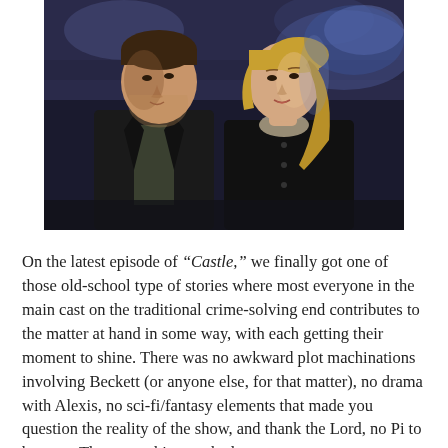[Figure (photo): Two actors (a man and a woman) standing together in a dimly lit scene, appearing to be from the TV show Castle. The man is on the left wearing a dark jacket, and the woman is on the right with blonde hair wearing a dark coat.]
On the latest episode of “Castle,” we finally got one of those old-school type of stories where most everyone in the main cast on the traditional crime-solving end contributes to the matter at hand in some way, with each getting their moment to shine. There was no awkward plot machinations involving Beckett (or anyone else, for that matter), no drama with Alexis, no sci-fi/fantasy elements that made you question the reality of the show, and thank the Lord, no Pi to be seen. The worst thing we had to put up